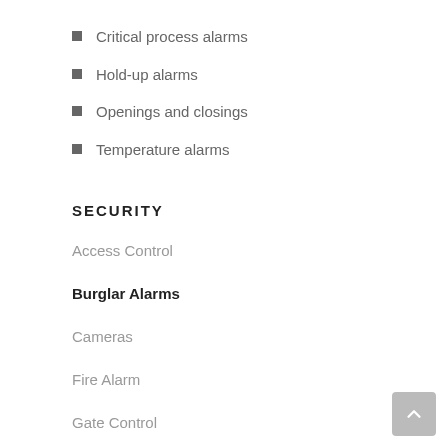Critical process alarms
Hold-up alarms
Openings and closings
Temperature alarms
SECURITY
Access Control
Burglar Alarms
Cameras
Fire Alarm
Gate Control
Intercoms